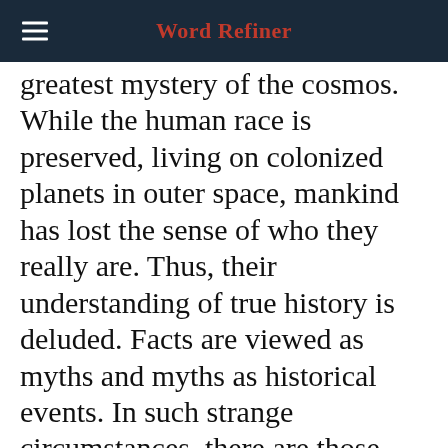Word Refiner
greatest mystery of the cosmos. While the human race is preserved, living on colonized planets in outer space, mankind has lost the sense of who they really are. Thus, their understanding of true history is deluded. Facts are viewed as myths and myths as historical events. In such strange circumstances, there are those who seek to belong somewhere more meaningful, opposed to the numerous ideologically flawed organizations,